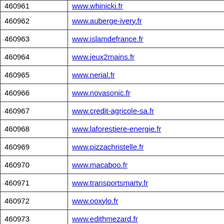| ID | URL |
| --- | --- |
| 460961 | www.whinicki.fr |
| 460962 | www.auberge-ivery.fr |
| 460963 | www.islamdefrance.fr |
| 460964 | www.jeux2mains.fr |
| 460965 | www.nerial.fr |
| 460966 | www.novasonic.fr |
| 460967 | www.credit-agricole-sa.fr |
| 460968 | www.laforestiere-energie.fr |
| 460969 | www.pizzachristelle.fr |
| 460970 | www.macaboo.fr |
| 460971 | www.transportsmarty.fr |
| 460972 | www.ooxylo.fr |
| 460973 | www.edithmezard.fr |
| 460974 | www.ultraframe.fr |
| 460975 | www.lyon-jalousie.fr |
| 460976 | www.memory-coach.fr |